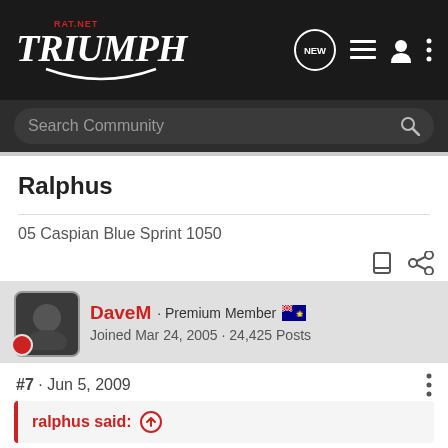Triumph RAT.NET - Search Community
Ralphus
05 Caspian Blue Sprint 1050
DaveM · Premium Member · Joined Mar 24, 2005 · 24,425 Posts
#7 · Jun 5, 2009
ralphus said: